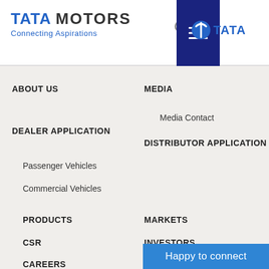[Figure (logo): Tata Motors logo with 'Connecting Aspirations' tagline and Tata Group logo, with search and hamburger menu icons in header]
ABOUT US
DEALER APPLICATION
Passenger Vehicles
Commercial Vehicles
PRODUCTS
CSR
CAREERS
MEDIA
Media Contact
DISTRIBUTOR APPLICATION
MARKETS
INVESTORS
CONTACT US
Happy to connect